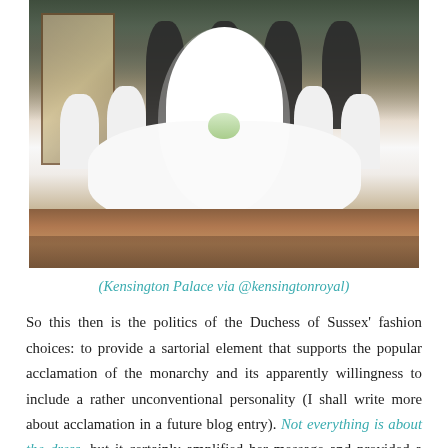[Figure (photo): Official royal wedding photo of the Duchess of Sussex in a white wedding gown surrounded by flower girls in white dresses holding bouquets, and page boys in dark suits, taken in an ornate palace room with patterned rugs.]
(Kensington Palace via @kensingtonroyal)
So this then is the politics of the Duchess of Sussex' fashion choices: to provide a sartorial element that supports the popular acclamation of the monarchy and its apparently willingness to include a rather unconventional personality (I shall write more about acclamation in a future blog entry). Not everything is about the dress, but it certainly amplified her message and provided a focus for popular